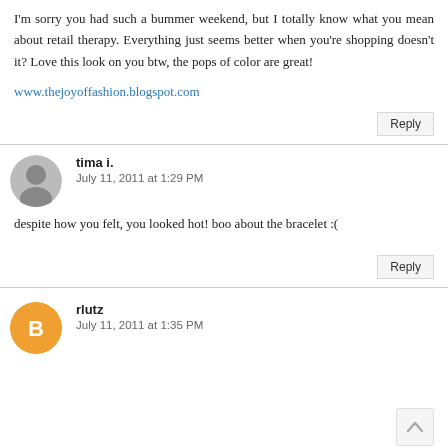I'm sorry you had such a bummer weekend, but I totally know what you mean about retail therapy. Everything just seems better when you're shopping doesn't it? Love this look on you btw, the pops of color are great!
www.thejoyoffashion.blogspot.com
Reply
tima i.
July 11, 2011 at 1:29 PM
despite how you felt, you looked hot! boo about the bracelet :(
Reply
rlutz
July 11, 2011 at 1:35 PM